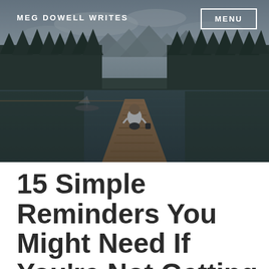[Figure (photo): A person sitting on a wooden dock extending into a calm reflective lake, surrounded by dense evergreen forest and mountains in the background under a cloudy sky. Muted, moody color tones.]
MEG DOWELL WRITES
MENU
15 Simple Reminders You Might Need If You're Not Getting Enough